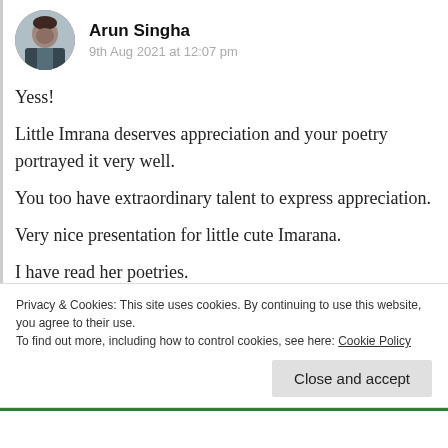[Figure (photo): Circular avatar photo of Arun Singha, a man in a suit, seated at a desk]
Arun Singha
9th Aug 2021 at 12:07 pm
Yess!

Little Imrana deserves appreciation and your poetry portrayed it very well.

You too have extraordinary talent to express appreciation.

Very nice presentation for little cute Imarana.

I have read her poetries.
Privacy & Cookies: This site uses cookies. By continuing to use this website, you agree to their use.
To find out more, including how to control cookies, see here: Cookie Policy
Close and accept